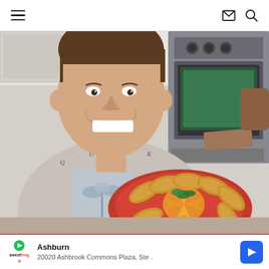Navigation header with hamburger menu, envelope icon, and search icon
[Figure (photo): A smiling man in a grey Quicksilver t-shirt holding a red plate of fried empanadas and orange slices in a kitchen setting, with a stainless steel oven in the background.]
Ashburn
20020 Ashbrook Commons Plaza, Ste .